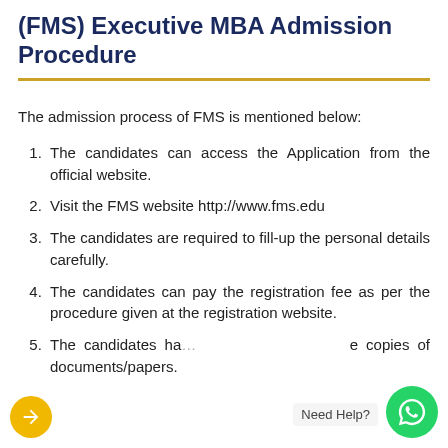(FMS) Executive MBA Admission Procedure
The admission process of FMS is mentioned below:
The candidates can access the Application from the official website.
Visit the FMS website http://www.fms.edu
The candidates are required to fill-up the personal details carefully.
The candidates can pay the registration fee as per the procedure given at the registration website.
The candidates have to upload scanned copies of documents/papers.